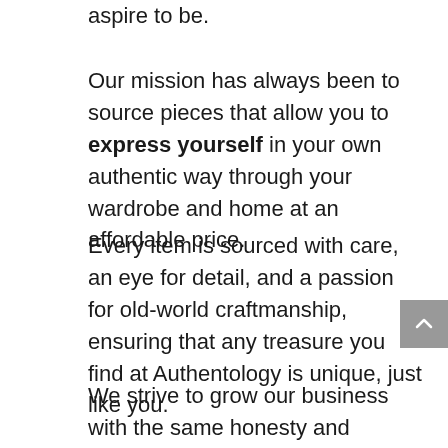aspire to be.
Our mission has always been to source pieces that allow you to express yourself in your own authentic way through your wardrobe and home at an affordable price.
Every item is sourced with care, an eye for detail, and a passion for old-world craftmanship, ensuring that any treasure you find at Authentology is unique, just like you.
We strive to grow our business with the same honesty and integrity that we use to source our products, to help inspire conscious consumerism